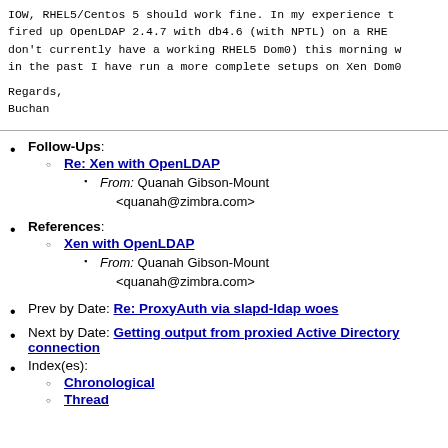IOW, RHEL5/Centos 5 should work fine. In my experience th fired up OpenLDAP 2.4.7 with db4.6 (with NPTL) on a RHEL don't currently have a working RHEL5 Dom0) this morning w in the past I have run a more complete setups on Xen Dom0
Regards,
Buchan
Follow-Ups: Re: Xen with OpenLDAP — From: Quanah Gibson-Mount <quanah@zimbra.com>
References: Xen with OpenLDAP — From: Quanah Gibson-Mount <quanah@zimbra.com>
Prev by Date: Re: ProxyAuth via slapd-ldap woes
Next by Date: Getting output from proxied Active Directory connection
Index(es): Chronological, Thread